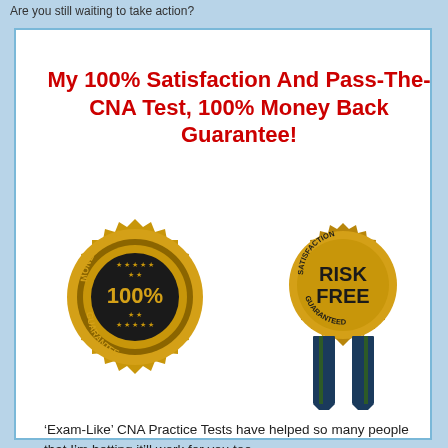Are you still waiting to take action?
My 100% Satisfaction And Pass-The-CNA Test, 100% Money Back Guarantee!
[Figure (illustration): Two guarantee badges: a round gold 'Money Back Guarantee 100%' seal on the left, and a gold ribbon 'Risk Free Satisfaction Guaranteed' award on the right.]
‘Exam-Like’ CNA Practice Tests have helped so many people that I’m betting it’ll work for you too.